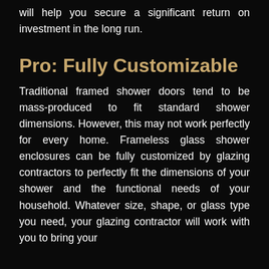will help you secure a significant return on investment in the long run.
Pro: Fully Customizable
Traditional framed shower doors tend to be mass-produced to fit standard shower dimensions. However, this may not work perfectly for every home. Frameless glass shower enclosures can be fully customized by glazing contractors to perfectly fit the dimensions of your shower and the functional needs of your household. Whatever size, shape, or glass type you need, your glazing contractor will work with you to bring your